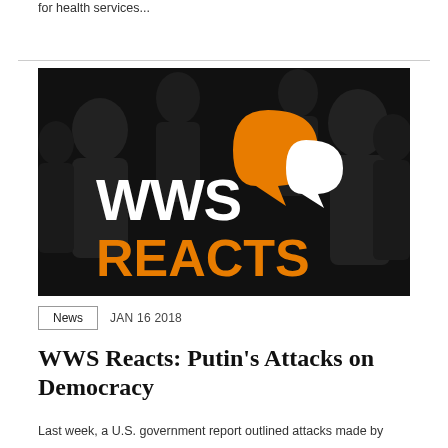for health services...
[Figure (logo): WWS Reacts logo — black background with silhouettes of people, bold white text 'WWS' and orange text 'REACTS', with orange speech bubble and white speech bubble icons]
News   JAN 16 2018
WWS Reacts: Putin's Attacks on Democracy
Last week, a U.S. government report outlined attacks made by